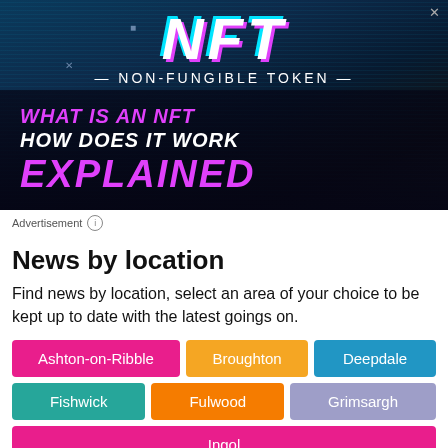[Figure (illustration): NFT Non-Fungible Token advertisement banner with glitch-style text, purple and cyan colors on dark background. Text reads: NFT, NON-FUNGIBLE TOKEN, WHAT IS AN NFT, HOW DOES IT WORK, EXPLAINED]
Advertisement ⓘ
News by location
Find news by location, select an area of your choice to be kept up to date with the latest goings on.
Ashton-on-Ribble
Broughton
Deepdale
Fishwick
Fulwood
Grimsargh
Ingol